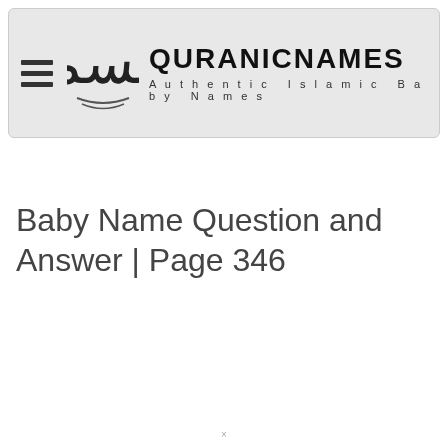QURANICNAMES Authentic Islamic Baby Names
Baby Name Question and Answer | Page 346